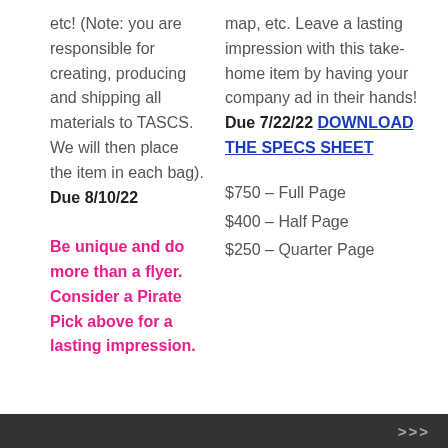etc! (Note: you are responsible for creating, producing and shipping all materials to TASCS. We will then place the item in each bag). Due 8/10/22
Be unique and do more than a flyer. Consider a Pirate Pick above for a lasting impression.
map, etc. Leave a lasting impression with this take-home item by having your company ad in their hands! Due 7/22/22 DOWNLOAD THE SPECS SHEET
$750 – Full Page
$400 – Half Page
$250 – Quarter Page
>>>